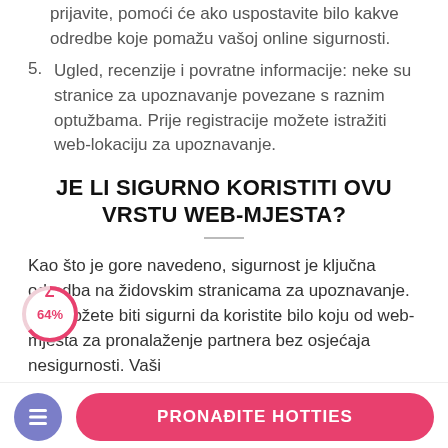prijavite, pomoći će ako uspostavite bilo kakve odredbe koje pomažu vašoj online sigurnosti.
5. Ugled, recenzije i povratne informacije: neke su stranice za upoznavanje povezane s raznim optužbama. Prije registracije možete istražiti web-lokaciju za upoznavanje.
JE LI SIGURNO KORISTITI OVU VRSTU WEB-MJESTA?
Kao što je gore navedeno, sigurnost je ključna odredba na židovskim stranicama za upoznavanje. Pa, možete biti sigurni da koristite bilo koju od web-mjesta za pronalaženje partnera bez osjećaja nesigurnosti. Vaši
[Figure (donut-chart): A donut/circular progress indicator showing 64% in pink/red outline on white background]
PRONAĐITE HOTTIES